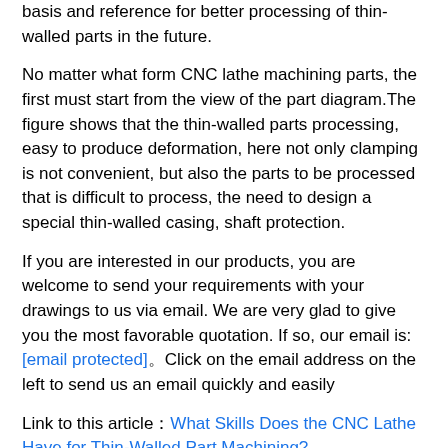basis and reference for better processing of thin-walled parts in the future.
No matter what form CNC lathe machining parts, the first must start from the view of the part diagram.The figure shows that the thin-walled parts processing, easy to produce deformation, here not only clamping is not convenient, but also the parts to be processed that is difficult to process, the need to design a special thin-walled casing, shaft protection.
If you are interested in our products, you are welcome to send your requirements with your drawings to us via email. We are very glad to give you the most favorable quotation. If so, our email is: [email protected]。Click on the email address on the left to send us an email quickly and easily
Link to this article：What Skills Does the CNC Lathe Have for Thin-Walled Part Machining?
Reprint Statement: If there are no special instructions, all articles on this site are original. Please indicate the source for reprinting.：Cnc Machining：Thank